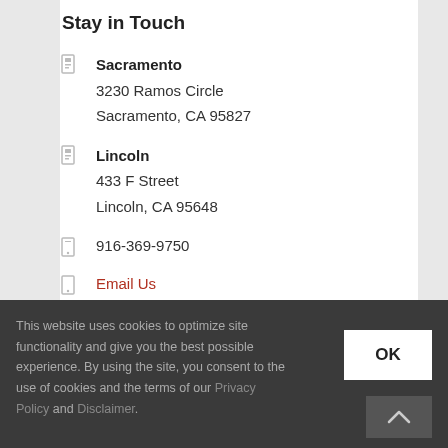Stay in Touch
Sacramento
3230 Ramos Circle
Sacramento, CA 95827
Lincoln
433 F Street
Lincoln, CA 95648
916-369-9750
Email Us
This website uses cookies to optimize site functionality and give you the best possible experience. By using the site, you consent to the use of cookies and the terms of our Privacy Policy and Disclaimer.